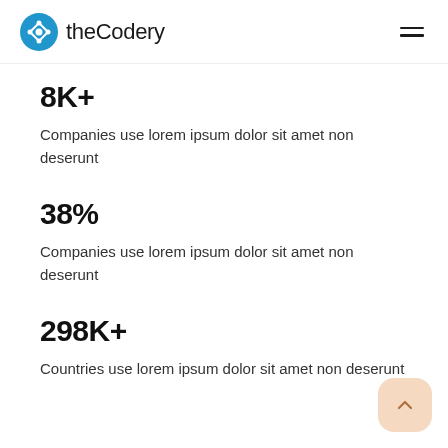theCodery
8K+
Companies use lorem ipsum dolor sit amet non deserunt
38%
Companies use lorem ipsum dolor sit amet non deserunt
298K+
Countries use lorem ipsum dolor sit amet non deserunt